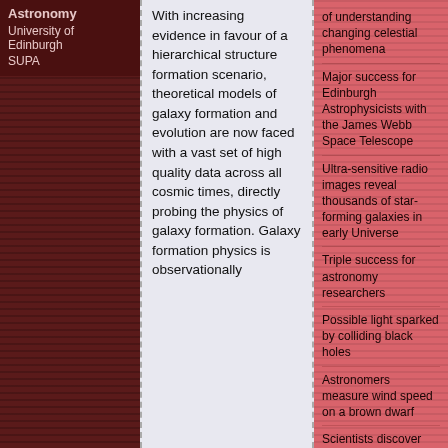Astronomy
University of Edinburgh
SUPA
With increasing evidence in favour of a hierarchical structure formation scenario, theoretical models of galaxy formation and evolution are now faced with a vast set of high quality data across all cosmic times, directly probing the physics of galaxy formation. Galaxy formation physics is observationally
of understanding changing celestial phenomena
Major success for Edinburgh Astrophysicists with the James Webb Space Telescope
Ultra-sensitive radio images reveal thousands of star-forming galaxies in early Universe
Triple success for astronomy researchers
Possible light sparked by colliding black holes
Astronomers measure wind speed on a brown dwarf
Scientists discover supernova that outshines all others
Neil Turok, the Inaugural Higgs Chair of Theoretical Physics, brings in new focus on the quantum universe
New telescope instrument sheds light